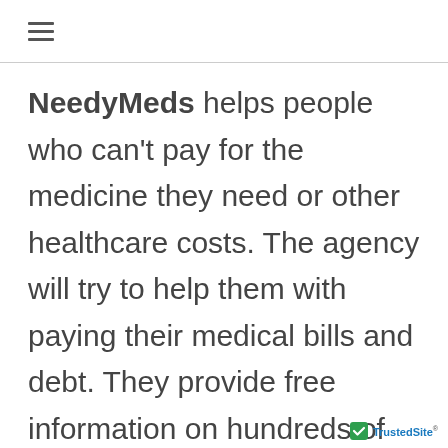≡
NeedyMeds helps people who can't pay for the medicine they need or other healthcare costs. The agency will try to help them with paying their medical bills and debt. They provide free information on hundreds of resources that are
[Figure (logo): TrustedSite badge with green checkmark and text 'TrustedSite']